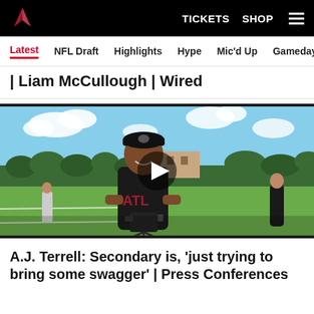Atlanta Falcons — TICKETS  SHOP  ☰
Latest  NFL Draft  Highlights  Hype  Mic'd Up  Gameday  Pod
| Liam McCullough | Wired
[Figure (photo): A.J. Terrell smiling on an outdoor football practice field, wearing an Atlanta Falcons black shirt, holding a microphone/camera rig. Sky with clouds and trees in background. Play button overlay on video thumbnail.]
A.J. Terrell: Secondary is, 'just trying to bring some swagger' | Press Conferences